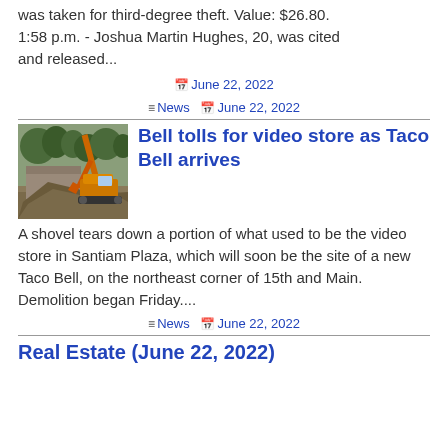was taken for third-degree theft. Value: $26.80. 1:58 p.m. - Joshua Martin Hughes, 20, was cited and released...
📅 June 22, 2022
≡ News  📅 June 22, 2022
Bell tolls for video store as Taco Bell arrives
[Figure (photo): Construction excavator/shovel tearing down a building at Santiam Plaza]
A shovel tears down a portion of what used to be the video store in Santiam Plaza, which will soon be the site of a new Taco Bell, on the northeast corner of 15th and Main. Demolition began Friday....
≡ News  📅 June 22, 2022
Real Estate (June 22, 2022)